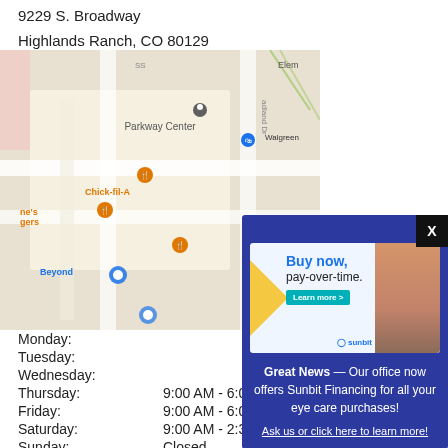9229 S. Broadway
Highlands Ranch, CO 80129
[Figure (map): Google Maps view showing Parkway Center area with Chick-fil-A, Beyond, Walgreens markers]
[Figure (infographic): Sunbit financing popup: Buy now, pay-over-time. Learn more button. Great News — Our office now offers Sunbit Financing for all your eye care purchases! Ask us or click here to learn more!]
| Day | Hours |
| --- | --- |
| Monday: |  |
| Tuesday: |  |
| Wednesday: |  |
| Thursday: | 9:00 AM - 6:00 PM |
| Friday: | 9:00 AM - 6:00 PM |
| Saturday: | 9:00 AM - 2:30 PM |
| Sunday: | Closed |